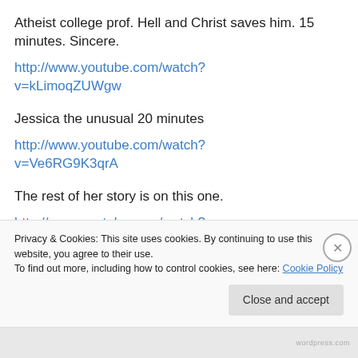Atheist college prof. Hell and Christ saves him. 15 minutes. Sincere.
http://www.youtube.com/watch?v=kLimoqZUWgw
Jessica the unusual 20 minutes
http://www.youtube.com/watch?v=Ve6RG9K3qrA
The rest of her story is on this one.
http://www.youtube.com/watch?
Privacy & Cookies: This site uses cookies. By continuing to use this website, you agree to their use. To find out more, including how to control cookies, see here: Cookie Policy
Close and accept